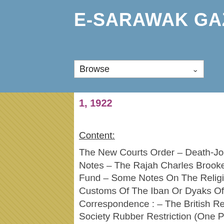E-SARAWAK GAZETTE
Browse
1, 1922
1660 VIEWS
Content: The New Courts Order – Death-John Kime – Notes – The Rajah Charles Brooke Memorial Fund – Some Notes On The Religious Rites And Customs Of The Iban Or Dyaks Of Sarawak – Correspondence : – The British Red Cross Society Rubber Restriction (One Point Of View) - Prize Giving At St. Thomas School, Kuching – Death Of Mr. John Kime – Death At Mi-